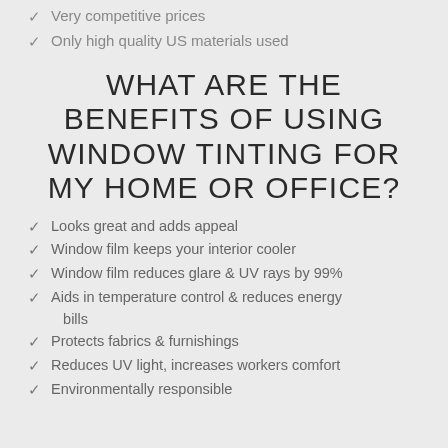Very competitive prices
Only high quality US materials used
WHAT ARE THE BENEFITS OF USING WINDOW TINTING FOR MY HOME OR OFFICE?
Looks great and adds appeal
Window film keeps your interior cooler
Window film reduces glare & UV rays by 99%
Aids in temperature control & reduces energy bills
Protects fabrics & furnishings
Reduces UV light, increases workers comfort
Environmentally responsible